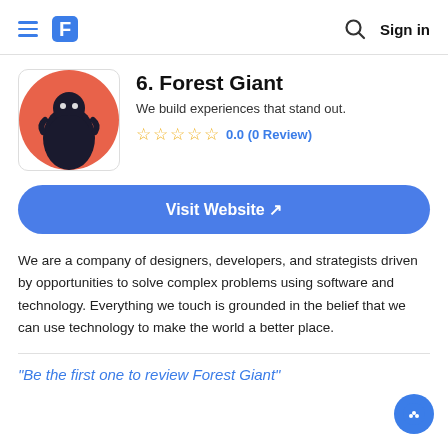≡ F  🔍 Sign in
6. Forest Giant
We build experiences that stand out.
☆☆☆☆☆ 0.0 (0 Review)
Visit Website ↗
We are a company of designers, developers, and strategists driven by opportunities to solve complex problems using software and technology. Everything we touch is grounded in the belief that we can use technology to make the world a better place.
"Be the first one to review Forest Giant"